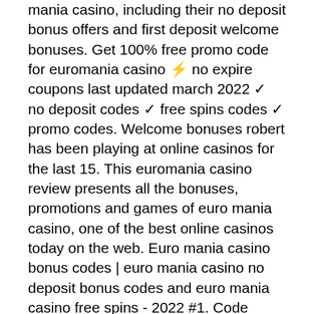mania casino, including their no deposit bonus offers and first deposit welcome bonuses. Get 100% free promo code for euromania casino ⚡ no expire coupons last updated march 2022 ✓ no deposit codes ✓ free spins codes ✓ promo codes. Welcome bonuses robert has been playing at online casinos for the last 15. This euromania casino review presents all the bonuses, promotions and games of euro mania casino, one of the best online casinos today on the web. Euro mania casino bonus codes | euro mania casino no deposit bonus codes and euro mania casino free spins - 2022 #1. Code bonus casino euromania - poker - best chance! best chance in our casino. Anonymous payments - because we are leaders. Euromania casino have been included on our blacklist. Ez a portál a magyar nyelvvel, magyar irodalommal, magyar történelemmel, a magyarság nagyjaival, kultúrájával, szellemi értékeivel